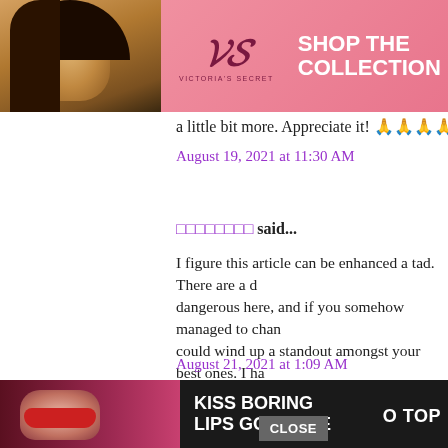[Figure (photo): Victoria's Secret advertisement banner with model photo on left, VS logo, 'SHOP THE COLLECTION' text, and 'SHOP NOW' button on pink background]
ou could ate a little bit more. Appreciate it! 🙏🙏🙏🙏🙏
August 19, 2021 at 11:30 AM
🔲🔲🔲🔲🔲🔲🔲🔲 said...
I figure this article can be enhanced a tad. There are a dangerous here, and if you somehow managed to chan could wind up a standout amongst your best ones. I ha respect to how you can change these things. 🔲🔲🔲🔲🔲🔲🔲🔲
August 21, 2021 at 1:09 AM
sportstoto365 said...
This is a informative blog! Thanks for sh Keep it up
[Figure (photo): Macy's advertisement banner with 'KISS BORING LIPS GOODBYE' text, lip model photo, 'SHOP NOW' button, and Macy's star logo. Dark background.]
CLOSE
0 TOP